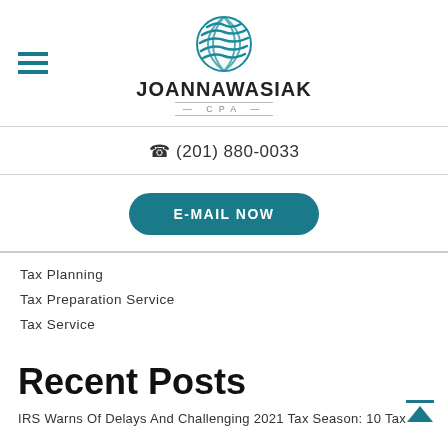[Figure (logo): Joanna Wasiak CPA logo with teal globe icon and business name]
(201) 880-0033
E-MAIL NOW
Tax Planning
Tax Preparation Service
Tax Service
Recent Posts
IRS Warns Of Delays And Challenging 2021 Tax Season: 10 Tax